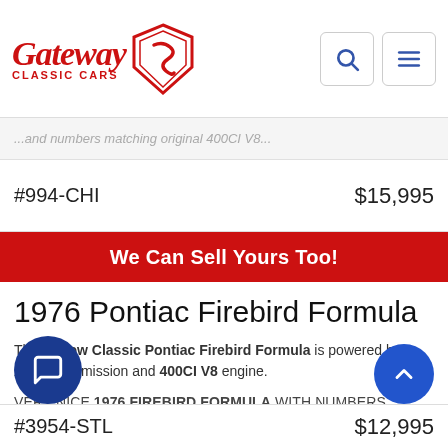Gateway Classic Cars logo and navigation header
... numbers matching original 400CI V8...
#994-CHI   $15,995
We Can Sell Yours Too!
1976 Pontiac Firebird Formula
This Yellow Classic Pontiac Firebird Formula is powered by a Auto transmission and 400CI V8 engine.
VERY NICE 1976 Firebird Formula WITH NUMBERS MATCHING 400 V8 AND AUTOMATIC TRASMISSION, HAS ONLY 73,xxx MILES AND RUNS LIKE NEW. LIKE NEW PAINT AND TIRES. MAINTENCE WAS DONE CORRECTLY AND WOULD BE A GREAT DRIVER FOR SOMEBODY.
#3954-STL   $12,995